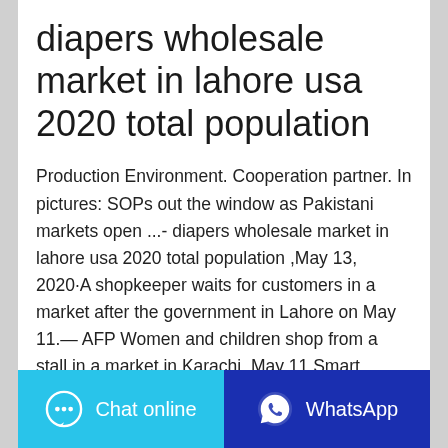diapers wholesale market in lahore usa 2020 total population
Production Environment. Cooperation partner. In pictures: SOPs out the window as Pakistani markets open ...- diapers wholesale market in lahore usa 2020 total population ,May 13, 2020·A shopkeeper waits for customers in a market after the government in Lahore on May 11.— AFP Women and children shop from a stall in a market in Karachi, May 11.Smart Diaper Market - Growth, Trends, Forecasts ...
Contact the manufacturer
WhatsApp
Chat online
WhatsApp